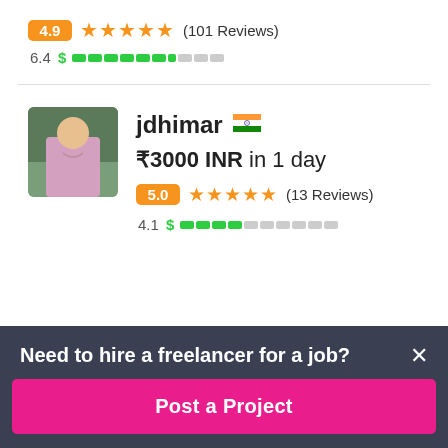4.9 ★★★★★ (101 Reviews)
6.4 $ ▓▓▓▓▓▓░░░░
jdhimar 🇮🇳
₹3000 INR in 1 day
5.0 ★★★★★ (13 Reviews)
4.1 $ ▓▓▓▓░░░░░░
Need to hire a freelancer for a job?
Post a Project